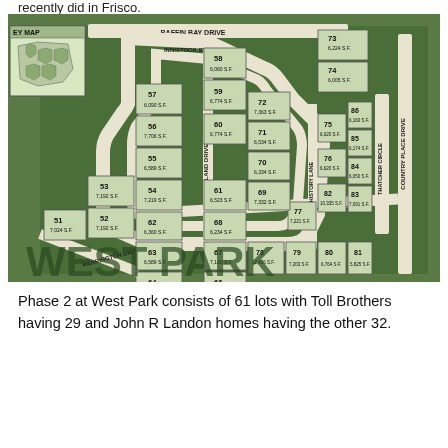recently did in Frisco.
[Figure (map): Subdivision plat map for West Park Phase 2, showing lots numbered 51-86 along streets including Baffin Bay Drive, Farmstead Street, Harrington Drive, Country Place Drive, and Thatcher Circle. Each lot is labeled with its number and square footage. A key map inset is shown in the upper left corner.]
Phase 2 at West Park consists of 61 lots with Toll Brothers having 29 and John R Landon homes having the other 32.